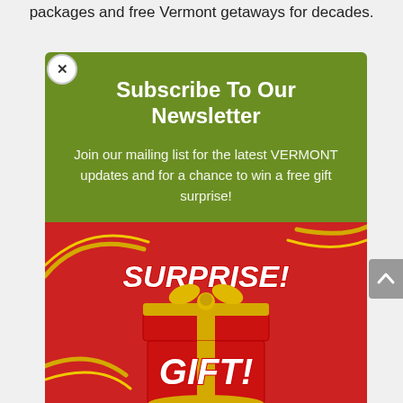packages and free Vermont getaways for decades.
Subscribe To Our Newsletter
Join our mailing list for the latest VERMONT updates and for a chance to win a free gift surprise!
[Figure (illustration): Red gift box with gold bow and lid open, gold ribbons swirling around, text SURPRISE! and GIFT! on red background]